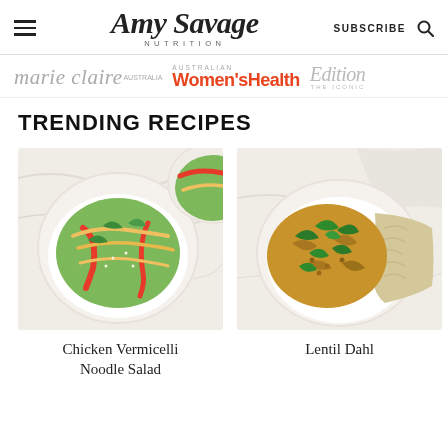Amy Savage Nutrition — SUBSCRIBE (nav bar with hamburger menu and search icon)
[Figure (logo): Media partner logos: marie claire Australia, Australian Women's Health, Edition THE ICONIC]
TRENDING RECIPES
[Figure (photo): Overhead photo of a bowl of Chicken Vermicelli Noodle Salad with colorful vegetables on a white marble surface, with a second partial bowl visible behind it]
Chicken Vermicelli
Noodle Salad
[Figure (photo): Overhead photo of a bowl of Lentil Dahl with spinach and rice on a white marble surface]
Lentil Dahl